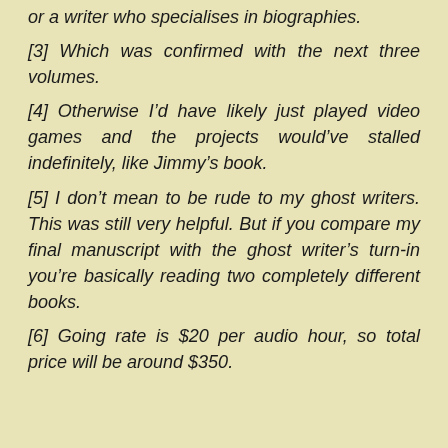or a writer who specialises in biographies.
[3] Which was confirmed with the next three volumes.
[4] Otherwise I’d have likely just played video games and the projects would’ve stalled indefinitely, like Jimmy’s book.
[5] I don’t mean to be rude to my ghost writers. This was still very helpful. But if you compare my final manuscript with the ghost writer’s turn-in you’re basically reading two completely different books.
[6] Going rate is $20 per audio hour, so total price will be around $350.